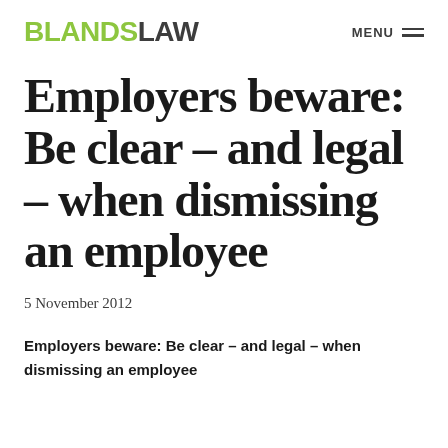BLANDSLAW | MENU
Employers beware: Be clear – and legal – when dismissing an employee
5 November 2012
Employers beware: Be clear – and legal – when dismissing an employee